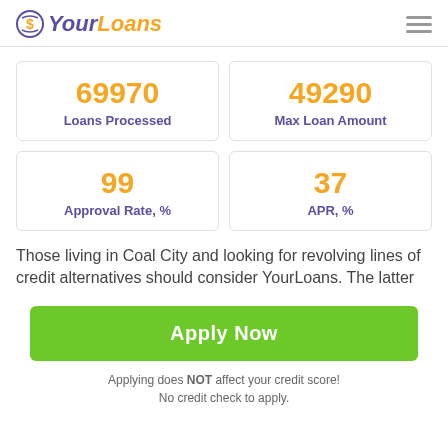YourLoans
| Metric | Value |
| --- | --- |
| Loans Processed | 69970 |
| Max Loan Amount | 49290 |
| Approval Rate, % | 99 |
| APR, % | 37 |
Those living in Coal City and looking for revolving lines of credit alternatives should consider YourLoans. The latter
Apply Now
Applying does NOT affect your credit score!
No credit check to apply.